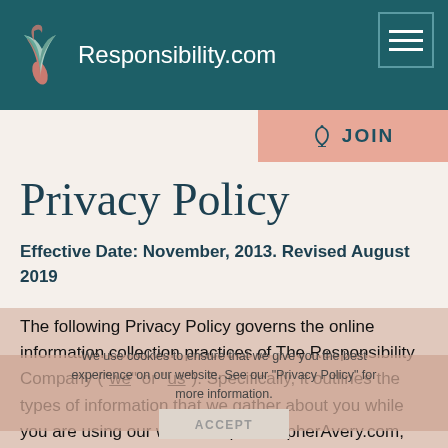Responsibility.com
Privacy Policy
Effective Date: November, 2013. Revised August 2019
The following Privacy Policy governs the online information collection practices of The Responsibility Company (“we” or “us”). Specifically, it outlines the types of information that we gather about you while you are using our websites (ChristopherAvery.com, LeadershipGift.com, Responsibility.com, The.LeadershipGift.com,
We use cookies to ensure that we give you the best experience on our website. See our “Privacy Policy” for more information.